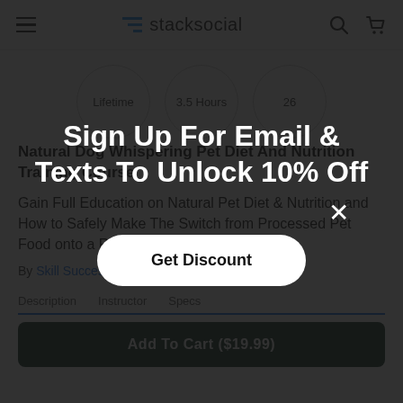stacksocial
Lifetime | 3.5 Hours | 26
Natural Dog Whispering Pet Diet And Nutrition Training Course
Gain Full Education on Natural Pet Diet & Nutrition and How to Safely Make The Switch from Processed Pet Food onto a Raw Food Diet
By Skill Success | in Online Courses
Description | Instructor | Specs
Add To Cart ($19.99)
Sign Up For Email & Texts To Unlock 10% Off
Get Discount